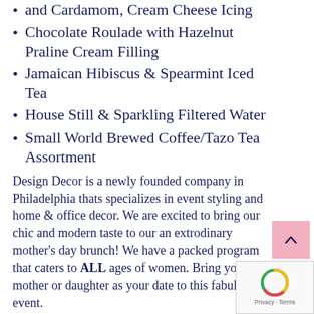and Cardamom, Cream Cheese Icing
Chocolate Roulade with Hazelnut Praline Cream Filling
Jamaican Hibiscus & Spearmint Iced Tea
House Still & Sparkling Filtered Water
Small World Brewed Coffee/Tazo Tea Assortment
Design Decor is a newly founded company in Philadelphia thats specializes in event styling and home & office decor. We are excited to bring our chic and modern taste to our an extrodinary mother's day brunch! We have a packed program that caters to ALL ages of women. Bring your mother or daughter as your date to this fabulous event.
Look forward to complimentary massages, wine tasting, dance & spoke word, fashion show, great food & networking (JUST TO NAME A FEW